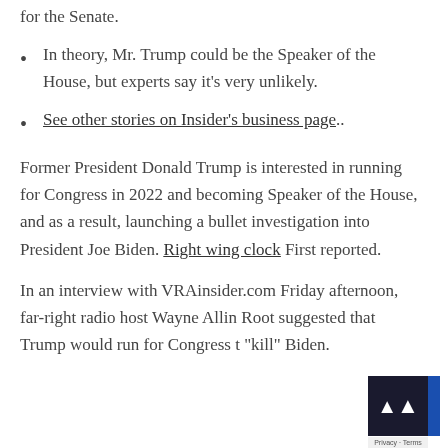for the Senate.
In theory, Mr. Trump could be the Speaker of the House, but experts say it's very unlikely.
See other stories on Insider's business page..
Former President Donald Trump is interested in running for Congress in 2022 and becoming Speaker of the House, and as a result, launching a bullet investigation into President Joe Biden. Right wing clock First reported.
In an interview with VRAinsider.com Friday afternoon, far-right radio host Wayne Allin Root suggested that Trump would run for Congress to "kill" Biden.